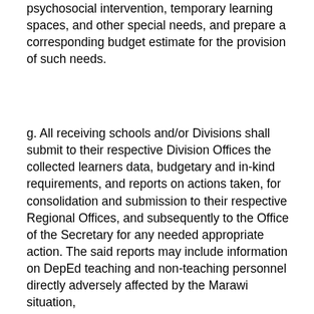psychosocial intervention, temporary learning spaces, and other special needs, and prepare a corresponding budget estimate for the provision of such needs.
g. All receiving schools and/or Divisions shall submit to their respective Division Offices the collected learners data, budgetary and in-kind requirements, and reports on actions taken, for consolidation and submission to their respective Regional Offices, and subsequently to the Office of the Secretary for any needed appropriate action. The said reports may include information on DepEd teaching and non-teaching personnel directly adversely affected by the Marawi situation,